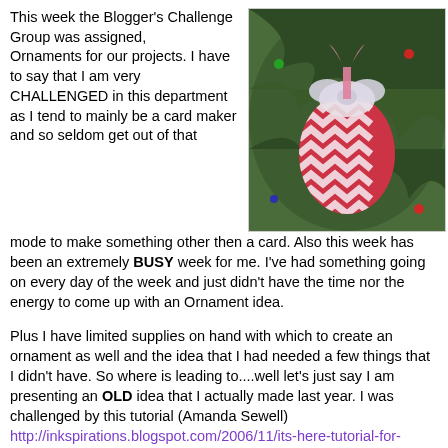This week the Blogger's Challenge Group was assigned, Ornaments for our projects. I have to say that I am very CHALLENGED in this department as I tend to mainly be a card maker and so seldom get out of that mode to make something other then a card. Also this week has been an extremely BUSY week for me. I've had something going on every day of the week and just didn't have the time nor the energy to come up with an Ornament idea.
[Figure (photo): A decorative Christmas ornament hanging on a Christmas tree, egg-shaped with a chevron/zigzag pattern in red and white, topped with a white lace bow and a pink ribbon.]
Plus I have limited supplies on hand with which to create an ornament as well and the idea that I had needed a few things that I didn't have. So where is leading to....well let's just say I am presenting an OLD idea that I actually made last year. I was challenged by this tutorial (Amanda Sewell) http://inkspirations.blogspot.com/2006/11/its-here-tutorial-for-